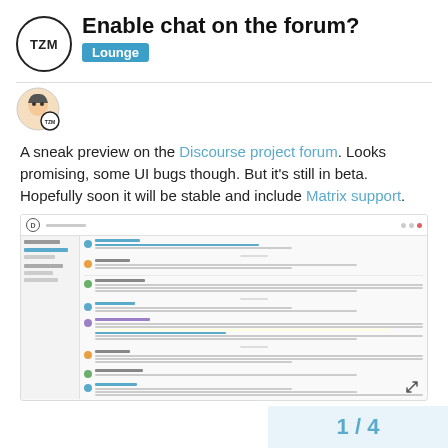Enable chat on the forum?
Lounge
A sneak preview on the Discourse project forum. Looks promising, some UI bugs though. But it's still in beta. Hopefully soon it will be stable and include Matrix support.
[Figure (screenshot): Screenshot of a Discourse forum chat interface showing multiple user messages in a chat panel layout with sidebar navigation.]
1 / 4